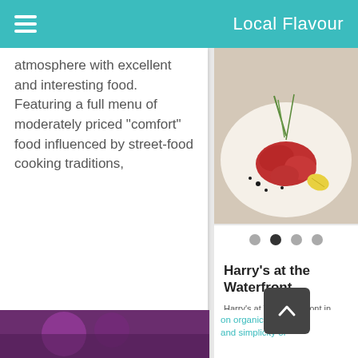Local Flavour
atmosphere with excellent and interesting food. Featuring a full menu of moderately priced "comfort" food influenced by street-food cooking traditions,
[Figure (photo): Plate of food — red/marinated meat bites with a garnish of chives and a lemon wedge on a white plate with dark sauce dots. Overlay text partially visible mentioning Bermuda's oldest and most famous pubs.]
Harry's at the Waterfront
Harry's at The Waterfront in partnership with Miles Market, Bermuda's Specialty Food Store, places its focus on organic freshness and simplicity of
on organic freshness and simplicity of